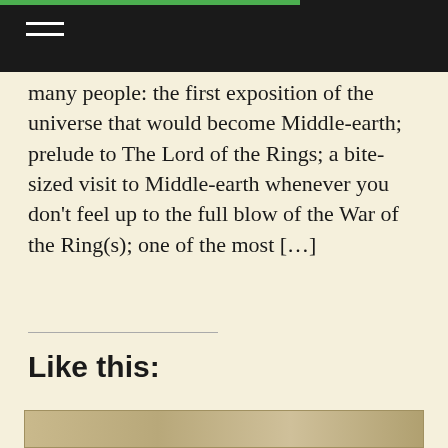[Navigation bar with hamburger menu]
many people: the first exposition of the universe that would become Middle-earth; prelude to The Lord of the Rings; a bite-sized visit to Middle-earth whenever you don't feel up to the full blow of the War of the Ring(s); one of the most […]
Like this:
This website uses cookies. By continuing to use this site, you agree to their use. To find out more, see this website's Privacy Policy: https://themisathena.info/privacy-policy-impressum-datenschutz

Diese Website verwendet Cookies. Durch die Fortsetzung Ihres Besuchs stimmen Sie der Verwendung zu. Weitere Informationen finden Sie auf der Seite Impressum und Datenschutz: https://themisathena.info/privacy-policy-impressum-datenschutz Privacy & Cookie Policy
Close and accept
[Figure (photo): Partial view of an old map or manuscript at the bottom of the page]